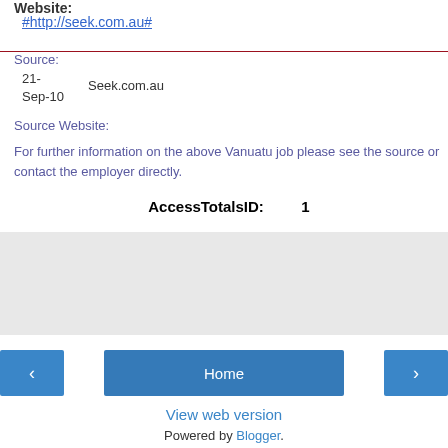Website:
#http://seek.com.au#
Source:
21-Sep-10    Seek.com.au
Source Website:
For further information on the above Vanuatu job please see the source or contact the employer directly.
AccessTotalsID:         1
[Figure (other): Share button area with light grey background]
View web version
Powered by Blogger.